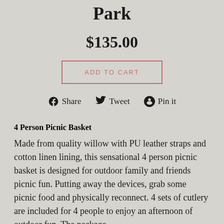Park
$135.00
ADD TO CART
Share  Tweet  Pin it
4 Person Picnic Basket
Made from quality willow with PU leather straps and cotton linen lining, this sensational 4 person picnic basket is designed for outdoor family and friends picnic fun. Putting away the devices, grab some picnic food and physically reconnect. 4 sets of cutlery are included for 4 people to enjoy an afternoon of outdoor fun. The package